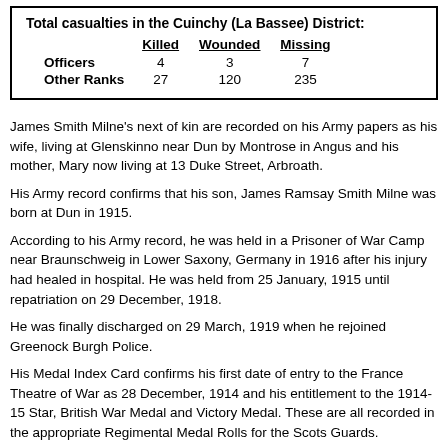|  | Killed | Wounded | Missing |
| --- | --- | --- | --- |
| Officers | 4 | 3 | 7 |
| Other Ranks | 27 | 120 | 235 |
James Smith Milne's next of kin are recorded on his Army papers as his wife, living at Glenskinno near Dun by Montrose in Angus and his mother, Mary now living at 13 Duke Street, Arbroath.
His Army record confirms that his son, James Ramsay Smith Milne was born at Dun in 1915.
According to his Army record, he was held in a Prisoner of War Camp near Braunschweig in Lower Saxony, Germany in 1916 after his injury had healed in hospital. He was held from 25 January, 1915 until repatriation on 29 December, 1918.
He was finally discharged on 29 March, 1919 when he rejoined Greenock Burgh Police.
His Medal Index Card confirms his first date of entry to the France Theatre of War as 28 December, 1914 and his entitlement to the 1914-15 Star, British War Medal and Victory Medal. These are all recorded in the appropriate Regimental Medal Rolls for the Scots Guards.
Sergeant James Smith Milne was awarded the King George V Silver Jubilee Medal in 1935 and this is also confirmed in the relevant Medal Roll.